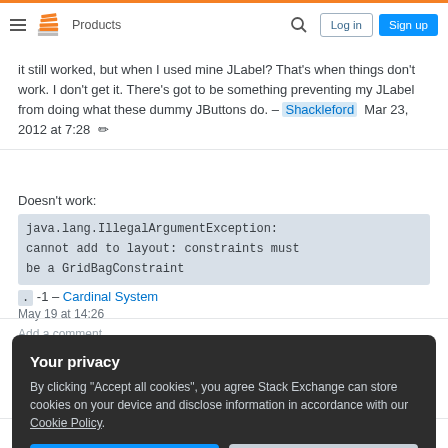Stack Overflow navigation bar with Products, Log in, Sign up
it still worked, but when I used mine JLabel? That's when things don't work. I don't get it. There's got to be something preventing my JLabel from doing what these dummy JButtons do. – Shackleford  Mar 23, 2012 at 7:28
Doesn't work:
java.lang.IllegalArgumentException: cannot add to layout: constraints must be a GridBagConstraint . -1 – Cardinal System  May 19 at 14:26
Add a comment
Your privacy
By clicking "Accept all cookies", you agree Stack Exchange can store cookies on your device and disclose information in accordance with our Cookie Policy.
Accept all cookies  Customize settings